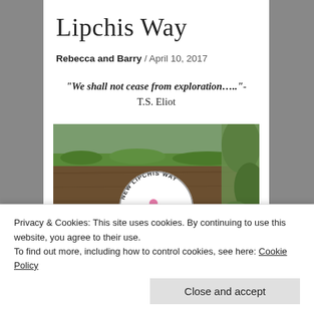Lipchis Way
Rebecca and Barry / April 10, 2017
“We shall not cease from exploration…..”- T.S. Eliot
[Figure (photo): A wooden post with a circular badge reading 'New Lipchis Way', surrounded by moss and foliage.]
Privacy & Cookies: This site uses cookies. By continuing to use this website, you agree to their use.
To find out more, including how to control cookies, see here: Cookie Policy
Close and accept